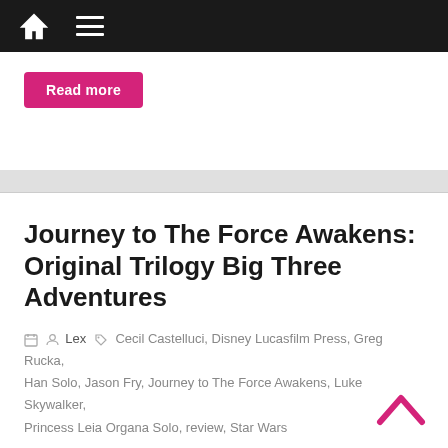Navigation bar with home and menu icons
Read more
Journey to The Force Awakens: Original Trilogy Big Three Adventures
Lex   Cecil Castelluci, Disney Lucasfilm Press, Greg Rucka, Han Solo, Jason Fry, Journey to The Force Awakens, Luke Skywalker, Princess Leia Organa Solo, review, Star Wars
As part of the Force Friday marketing campaign, most of the books in the “Journey to The Force Awakens” publishing
Read more